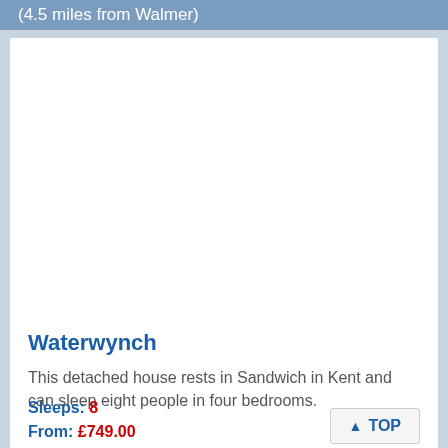(4.5 miles from Walmer)
[Figure (photo): Photo of Waterwynch property (white/blank area)]
Waterwynch
This detached house rests in Sandwich in Kent and can sleep eight people in four bedrooms.
Sleeps: 8
From: £749.00